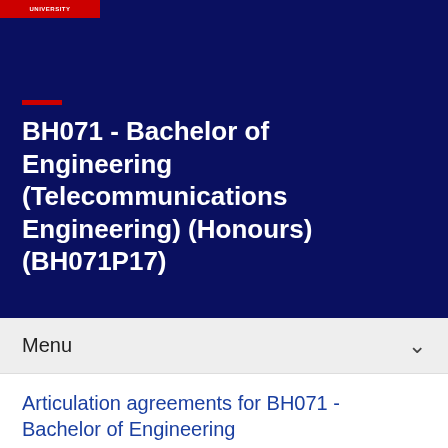UNIVERSITY
BH071 - Bachelor of Engineering (Telecommunications Engineering) (Honours) (BH071P17)
Menu
Articulation agreements for BH071 - Bachelor of Engineering